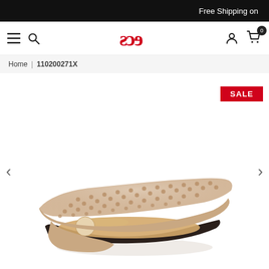Free Shipping on
[Figure (logo): ECS logo in red stylized lettering]
Home | 110200271X
[Figure (photo): Beige/nude flat slide sandal with studded/perforated upper strap, shown on white background. SALE badge in top right corner. Left and right navigation arrows.]